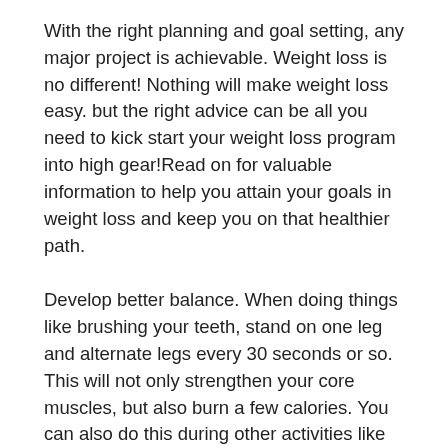With the right planning and goal setting, any major project is achievable. Weight loss is no different! Nothing will make weight loss easy. but the right advice can be all you need to kick start your weight loss program into high gear!Read on for valuable information to help you attain your goals in weight loss and keep you on that healthier path.
Develop better balance. When doing things like brushing your teeth, stand on one leg and alternate legs every 30 seconds or so. This will not only strengthen your core muscles, but also burn a few calories. You can also do this during other activities like washing the dishes or cleaning the kitchen counters.
You should eat reasonable snacks when you're losing weight, for two reasons. First, it's best not to let yourself get too hungry or you will be tempted to overeat. So six